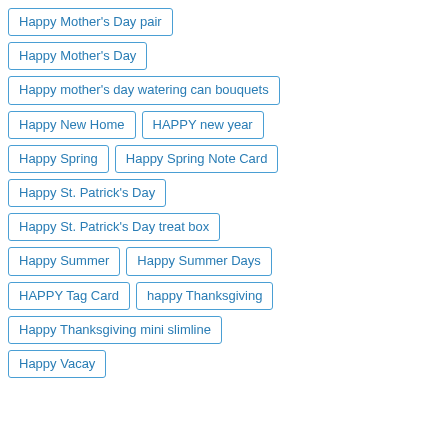Happy Mother's Day pair
Happy Mother's Day
Happy mother's day watering can bouquets
Happy New Home
HAPPY new year
Happy Spring
Happy Spring Note Card
Happy St. Patrick's Day
Happy St. Patrick's Day treat box
Happy Summer
Happy Summer Days
HAPPY Tag Card
happy Thanksgiving
Happy Thanksgiving mini slimline
Happy Vacay